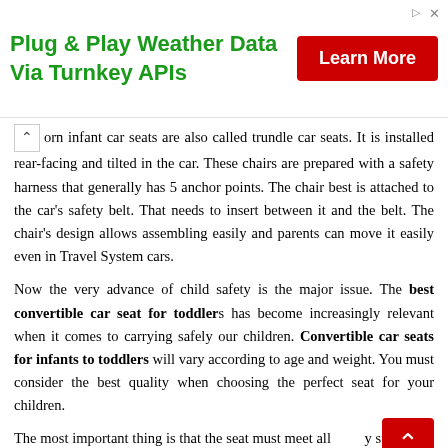[Figure (infographic): Advertisement banner: 'Plug & Play Weather Data Via Turnkey APIs' with a red 'Learn More' button]
orn infant car seats are also called trundle car seats. It is installed rear-facing and tilted in the car. These chairs are prepared with a safety harness that generally has 5 anchor points. The chair best is attached to the car's safety belt. That needs to insert between it and the belt. The chair's design allows assembling easily and parents can move it easily even in Travel System cars.
Now the very advance of child safety is the major issue. The best convertible car seat for toddlers has become increasingly relevant when it comes to carrying safely our children. Convertible car seats for infants to toddlers will vary according to age and weight. You must consider the best quality when choosing the perfect seat for your children.
The most important thing is that the seat must meet all safety standards. It must be appropriate for the weight and size of